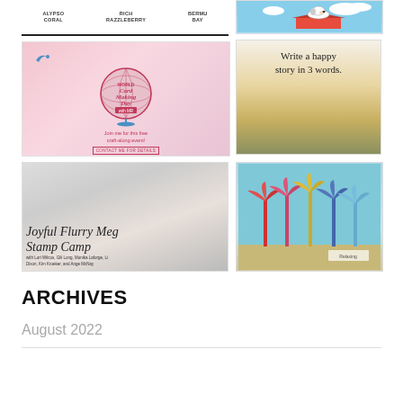[Figure (illustration): Color swatches area with labels: ALYPSO CORAL, RICH RAZZLEBERRY, BERMU BAY]
[Figure (illustration): World Card Making Day promotional image with globe, bird, and text: Join me for this free craft-along event! CONTACT ME FOR DETAILS]
[Figure (photo): Joyful Flurry Mega Stamp Camp promotional image with craft supplies and cursive script overlay. Names: Lori Wilcos, Gili Long, Monika Laforge, Li Dixon, Kim Kroeker, and Ange McNay]
[Figure (illustration): Snoopy cartoon image on red doghouse with blue sky]
[Figure (photo): Inspirational image of yellow field at sunset with text: Write a happy story in 3 words.]
[Figure (illustration): Card with colorful palm trees on teal background]
ARCHIVES
August 2022